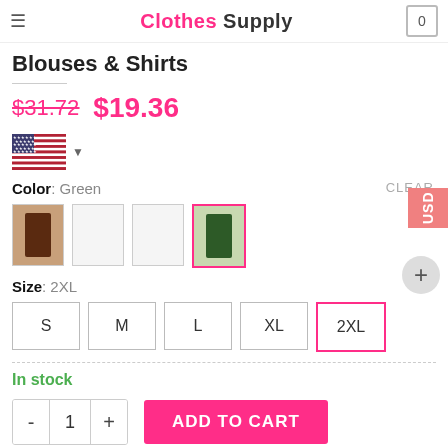Clothes Supply | Cart: 0
Blouses & Shirts
$31.72  $19.36
[Figure (illustration): US flag icon with dropdown arrow for currency/country selection]
CLEAR
Color: Green
[Figure (illustration): Four color swatch boxes; first has a brown/dark garment thumbnail, second and third are empty/white, fourth has a green garment thumbnail and is selected with pink border]
Size: 2XL
S  M  L  XL  2XL (selected)
In stock
- 1 + ADD TO CART